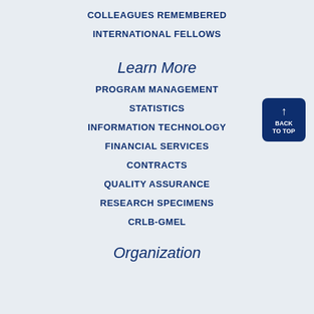COLLEAGUES REMEMBERED
INTERNATIONAL FELLOWS
Learn More
PROGRAM MANAGEMENT
STATISTICS
INFORMATION TECHNOLOGY
FINANCIAL SERVICES
CONTRACTS
QUALITY ASSURANCE
RESEARCH SPECIMENS
CRLB-GMEL
Organization